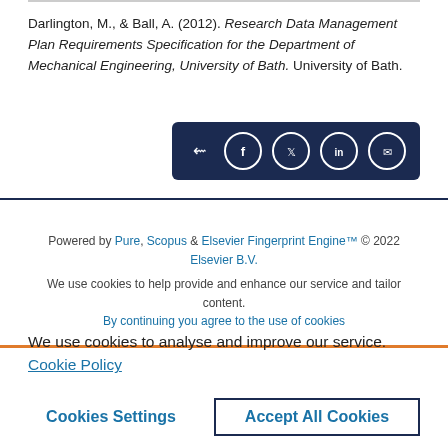Darlington, M., & Ball, A. (2012). Research Data Management Plan Requirements Specification for the Department of Mechanical Engineering, University of Bath. University of Bath.
[Figure (other): Social share bar with dark blue background containing share, Facebook, Twitter, LinkedIn, and email icons]
Powered by Pure, Scopus & Elsevier Fingerprint Engine™ © 2022 Elsevier B.V.
We use cookies to help provide and enhance our service and tailor content. By continuing you agree to the use of cookies
We use cookies to analyse and improve our service. Cookie Policy
Cookies Settings   Accept All Cookies